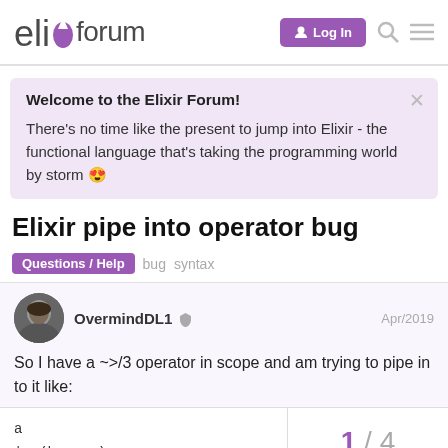elixir forum — Log In
Welcome to the Elixir Forum!
There's no time like the present to jump into Elixir - the functional language that's taking the programming world by storm 😍
Elixir pipe into operator bug
Questions / Help   bug   syntax
OvermindDL1   Apr/2019
So I have a ~>/3 operator in scope and am trying to pipe in to it like:
a
|> (b -> c)
1 / 4